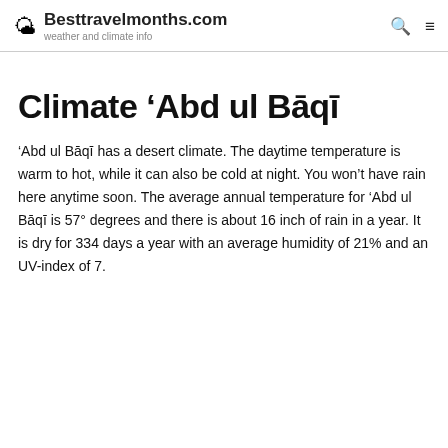Besttravelmonths.com — weather and climate info
Climate ‘Abd ul Bāqī
‘Abd ul Bāqī has a desert climate. The daytime temperature is warm to hot, while it can also be cold at night. You won’t have rain here anytime soon. The average annual temperature for ‘Abd ul Bāqī is 57° degrees and there is about 16 inch of rain in a year. It is dry for 334 days a year with an average humidity of 21% and an UV-index of 7.